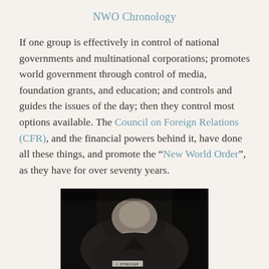NWO Chronology
If one group is effectively in control of national governments and multinational corporations; promotes world government through control of media, foundation grants, and education; and controls and guides the issues of the day; then they control most options available. The Council on Foreign Relations (CFR), and the financial powers behind it, have done all these things, and promote the “New World Order”, as they have for over seventy years.
[Figure (photo): Black and white photograph of a person lying down, with a name tag label reading 'J. STRECKER' visible on their chest.]